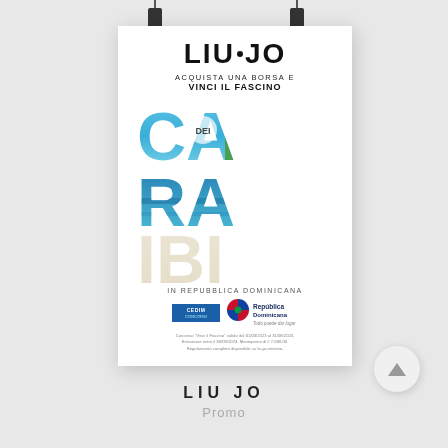[Figure (photo): A promotional poster for Liu Jo fashion brand, showing 'ACQUISTA UNA BORSA E VINCI IL FASCINO DEI CARAIBI IN REPUBBLICA DOMINICANA' with large Caribbean-scene-filled letters spelling CARAIBI, partner logos (Cedim and Repubblica Dominicana), and fine print. The poster is displayed hanging with binder clips on a grey background.]
LIU JO
Promo